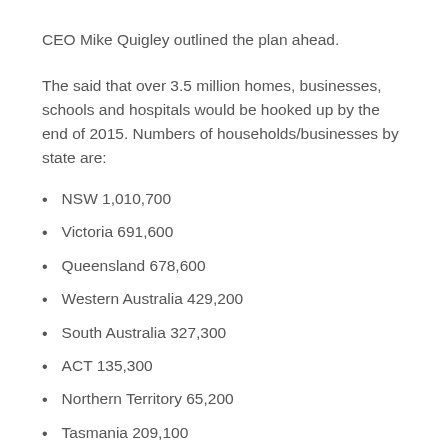CEO Mike Quigley outlined the plan ahead.
The said that over 3.5 million homes, businesses, schools and hospitals would be hooked up by the end of 2015. Numbers of households/businesses by state are:
NSW 1,010,700
Victoria 691,600
Queensland 678,600
Western Australia 429,200
South Australia 327,300
ACT 135,300
Northern Territory 65,200
Tasmania 209,100